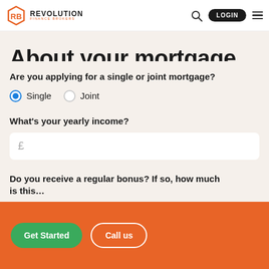[Figure (logo): Revolution Finance Brokers logo with hexagonal icon and text]
About your mortgage
Are you applying for a single or joint mortgage?
Single (selected), Joint
What's your yearly income?
£ (input field)
Do you receive a regular bonus? If so, how much is this…